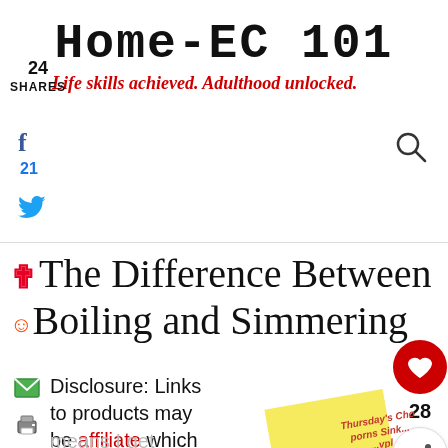HOME-EC 101
Life skills achieved. Adulthood unlocked.
24 SHARES
f
21
🐦
The Difference Between Boiling and Simmering
Disclosure: Links to products may be affiliate which means I get commissions for